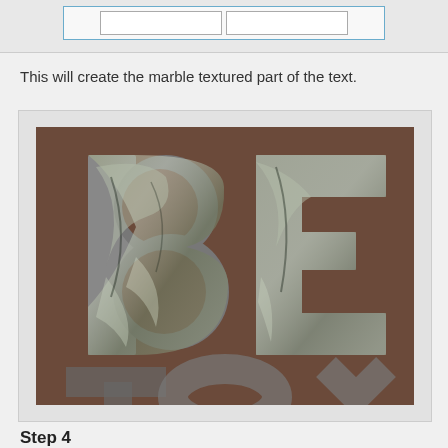[Figure (screenshot): UI screenshot showing input boxes with blue border at the top of the panel]
This will create the marble textured part of the text.
[Figure (photo): Marble textured text effect showing letters 'BE' on a brown background with shiny metallic marble texture applied to the letters]
Step 4
Double click the first copy text layer to apply the following